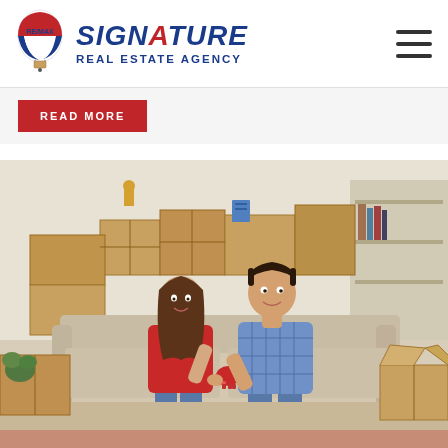[Figure (logo): RE/MAX Signature Real Estate Agency logo with hot air balloon icon and brand name]
READ MORE
[Figure (photo): A young couple sitting on a couch surrounded by moving boxes, smiling at each other, the man holding a red piggy bank]